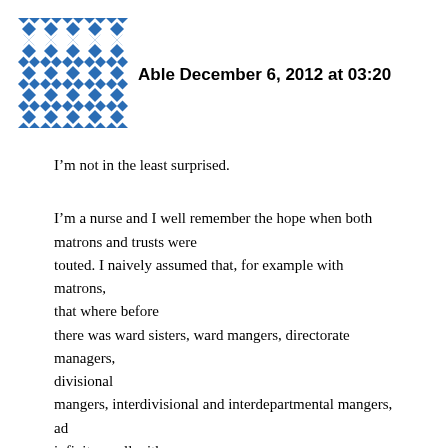[Figure (logo): Blue and white geometric diamond/square quilt pattern logo]
Able December 6, 2012 at 03:20
I’m not in the least surprised.
I’m a nurse and I well remember the hope when both matrons and trusts were touted. I naively assumed that, for example with matrons, that where before there was ward sisters, ward mangers, directorate managers, divisional mangers, interdivisional and interdepartmental mangers, ad infinitum, all with secretaries and deputies, that the new matrons would be a return to the original management structure (ie. ward sister – matron –